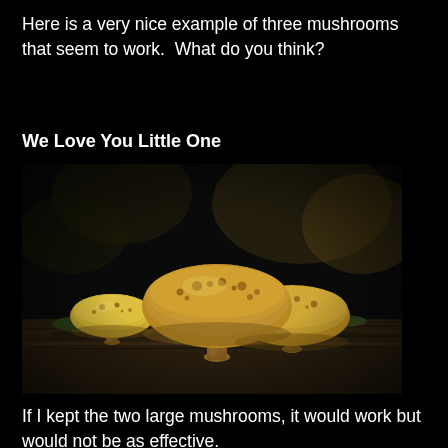Here is a very nice example of three mushrooms that seem to work.  What do you think?
We Love You Little One
[Figure (photo): Close-up photograph of three yellow-brown mushrooms with speckled caps growing on a mossy log in a dark forest setting.]
If I kept the two large mushrooms, it would work but would not be as effective.